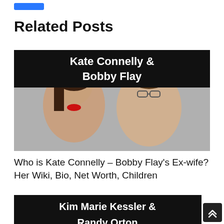Related Posts
[Figure (photo): Photo of Kate Connelly and Bobby Flay with black banner text 'Kate Connelly & Bobby Flay']
Who is Kate Connelly – Bobby Flay's Ex-wife? Her Wiki, Bio, Net Worth, Children
[Figure (photo): Photo with black banner text 'Kim Marie Kessler & Randy Orton']